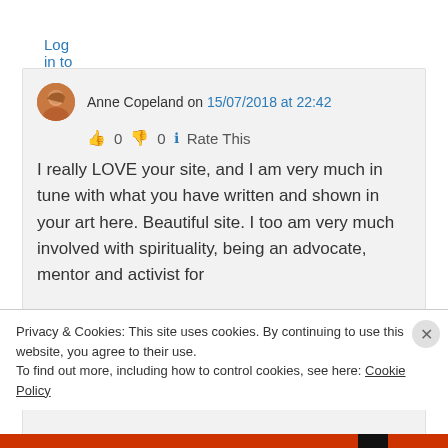Log in to Reply
Anne Copeland on 15/07/2018 at 22:42
👍 0 👎 0 ℹ Rate This
I really LOVE your site, and I am very much in tune with what you have written and shown in your art here. Beautiful site. I too am very much involved with spirituality, being an advocate, mentor and activist for
Privacy & Cookies: This site uses cookies. By continuing to use this website, you agree to their use.
To find out more, including how to control cookies, see here: Cookie Policy
Close and accept